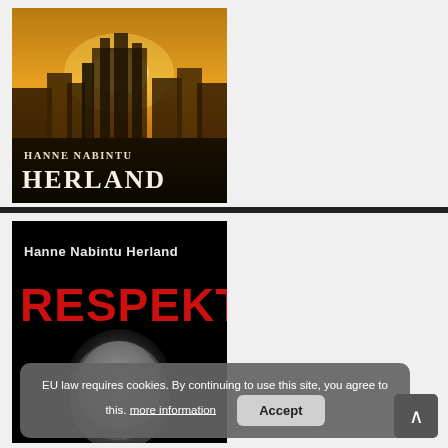[Figure (illustration): Book cover: Hanne Nabintu Herland — golden ancient city skyline background, white serif text at bottom on dark band]
[Figure (illustration): Book cover: Hanne Nabintu Herland — RESPEKT, black background, red bold title text, monochrome woman's face below]
EU law requires cookies. By continuing to use this site, you agree to this. more information   Accept